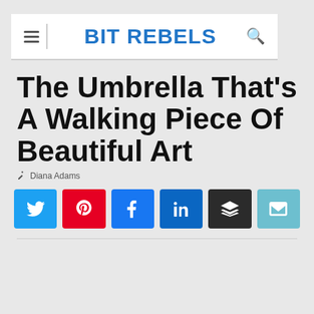BIT REBELS
The Umbrella That's A Walking Piece Of Beautiful Art
Diana Adams
[Figure (infographic): Social share buttons: Twitter (blue), Pinterest (red), Facebook (blue), LinkedIn (dark blue), Buffer (dark gray), Email (light blue)]